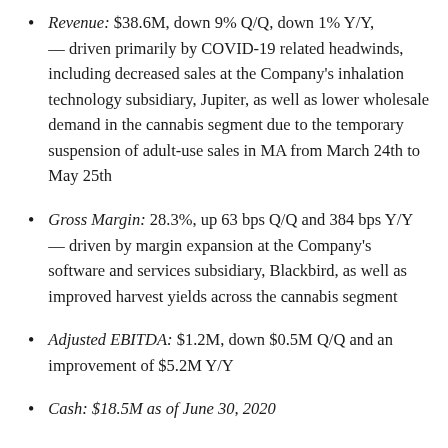Revenue: $38.6M, down 9% Q/Q, down 1% Y/Y, — driven primarily by COVID-19 related headwinds, including decreased sales at the Company's inhalation technology subsidiary, Jupiter, as well as lower wholesale demand in the cannabis segment due to the temporary suspension of adult-use sales in MA from March 24th to May 25th
Gross Margin: 28.3%, up 63 bps Q/Q and 384 bps Y/Y — driven by margin expansion at the Company's software and services subsidiary, Blackbird, as well as improved harvest yields across the cannabis segment
Adjusted EBITDA: $1.2M, down $0.5M Q/Q and an improvement of $5.2M Y/Y
Cash: $18.5M as of June 30, 2020